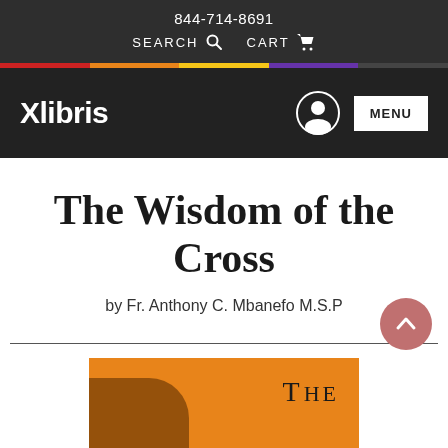844-714-8691
SEARCH  CART
Xlibris  MENU
The Wisdom of the Cross
by Fr. Anthony C. Mbanefo M.S.P
[Figure (photo): Partial view of the book cover showing an orange background with the word THE in serif font and a dark shadowed shape at the bottom left]